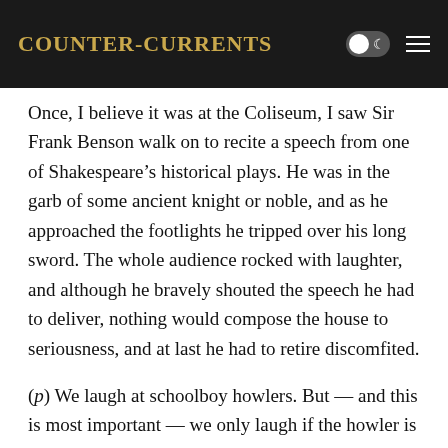Counter-Currents
Once, I believe it was at the Coliseum, I saw Sir Frank Benson walk on to recite a speech from one of Shakespeare’s historical plays. He was in the garb of some ancient knight or noble, and as he approached the footlights he tripped over his long sword. The whole audience rocked with laughter, and although he bravely shouted the speech he had to deliver, nothing would compose the house to seriousness, and at last he had to retire discomfited.
(p) We laugh at schoolboy howlers. But — and this is most important — we only laugh if the howler is one which our own unaided knowledge enables us to recognise as such. When we hear a schoolboy refer to the bridge spanning the Menai Straits as a “tubercular bridge,” we may laugh. We may also laugh when we hear him describe an oculist as a fish with long legs. When, however, the howler concerns